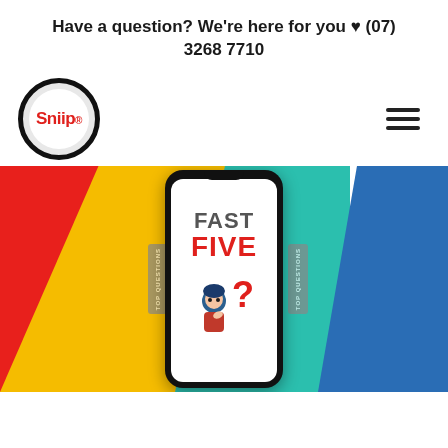Have a question? We're here for you ♥ (07) 3268 7710
[Figure (logo): Sniip circular logo with red text on white background inside a black bordered circle]
[Figure (illustration): Hamburger menu icon (three horizontal lines)]
[Figure (infographic): Promotional banner with colorful diagonal strips (red, yellow, teal, blue) and a smartphone showing 'FAST FIVE' text with a thinking person illustration and question mark. Side panels read 'TOP QUESTIONS'.]